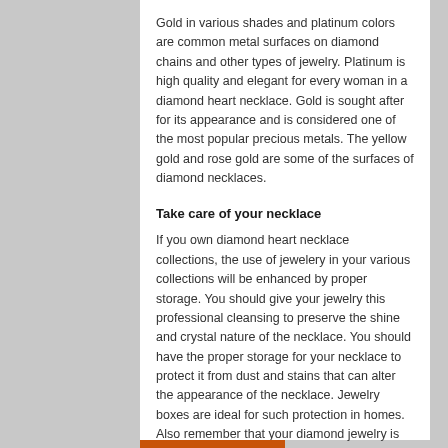Gold in various shades and platinum colors are common metal surfaces on diamond chains and other types of jewelry. Platinum is high quality and elegant for every woman in a diamond heart necklace. Gold is sought after for its appearance and is considered one of the most popular precious metals. The yellow gold and rose gold are some of the surfaces of diamond necklaces.
Take care of your necklace
If you own diamond heart necklace collections, the use of jewelery in your various collections will be enhanced by proper storage. You should give your jewelry this professional cleansing to preserve the shine and crystal nature of the necklace. You should have the proper storage for your necklace to protect it from dust and stains that can alter the appearance of the necklace. Jewelry boxes are ideal for such protection in homes. Also remember that your diamond jewelry is worth a fortune as an investment. You can save them in a third party system like the banks.